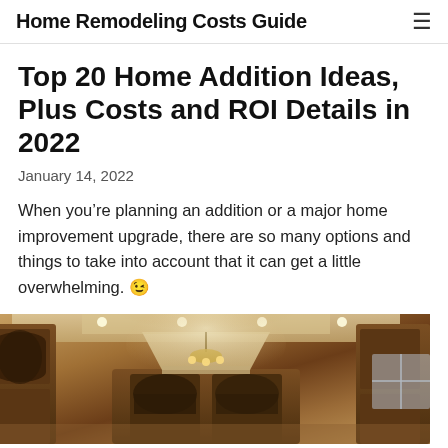Home Remodeling Costs Guide
Top 20 Home Addition Ideas, Plus Costs and ROI Details in 2022
January 14, 2022
When you’re planning an addition or a major home improvement upgrade, there are so many options and things to take into account that it can get a little overwhelming. 😉
[Figure (photo): Interior photo of a luxury home kitchen with dark wood cabinetry, arched details, recessed lighting, and a chandelier.]